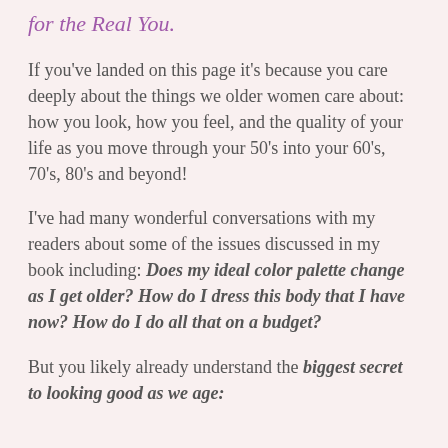for the Real You.
If you've landed on this page it's because you care deeply about the things we older women care about: how you look, how you feel, and the quality of your life as you move through your 50's into your 60's, 70's, 80's and beyond!
I've had many wonderful conversations with my readers about some of the issues discussed in my book including: Does my ideal color palette change as I get older? How do I dress this body that I have now? How do I do all that on a budget?
But you likely already understand the biggest secret to looking good as we age: